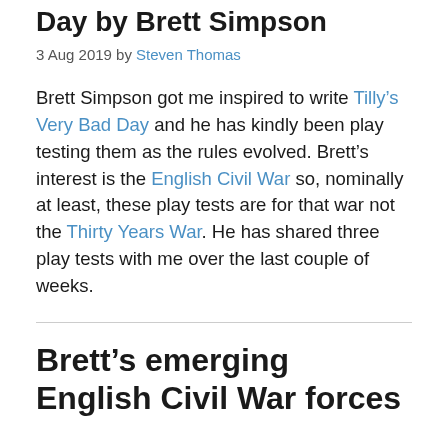Day by Brett Simpson
3 Aug 2019 by Steven Thomas
Brett Simpson got me inspired to write Tilly’s Very Bad Day and he has kindly been play testing them as the rules evolved. Brett’s interest is the English Civil War so, nominally at least, these play tests are for that war not the Thirty Years War. He has shared three play tests with me over the last couple of weeks.
Brett’s emerging English Civil War forces